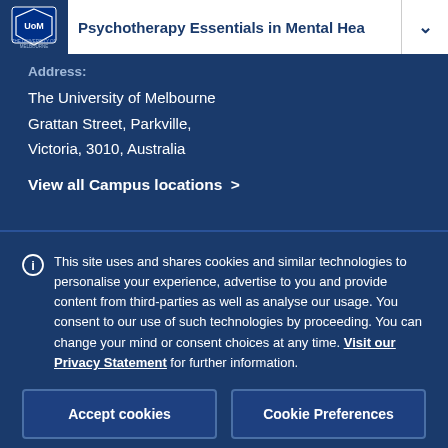Psychotherapy Essentials in Mental Hea
Address:
The University of Melbourne
Grattan Street, Parkville,
Victoria, 3010, Australia
View all Campus locations >
This site uses and shares cookies and similar technologies to personalise your experience, advertise to you and provide content from third-parties as well as analyse our usage. You consent to our use of such technologies by proceeding. You can change your mind or consent choices at any time. Visit our Privacy Statement for further information.
Accept cookies
Cookie Preferences